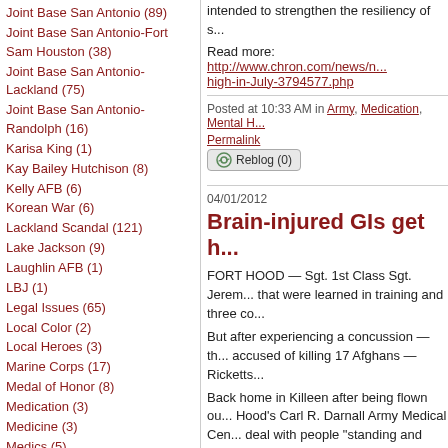Joint Base San Antonio (89)
Joint Base San Antonio-Fort Sam Houston (38)
Joint Base San Antonio-Lackland (75)
Joint Base San Antonio-Randolph (16)
Karisa King (1)
Kay Bailey Hutchison (8)
Kelly AFB (6)
Korean War (6)
Lackland Scandal (121)
Lake Jackson (9)
Laughlin AFB (1)
LBJ (1)
Legal Issues (65)
Local Color (2)
Local Heroes (3)
Marine Corps (17)
Medal of Honor (8)
Medication (3)
Medicine (3)
Medics (5)
Memorials (7)
Mental Health (13)
Mexican Border (2)
Military Awards and Honors (11)
intended to strengthen the resiliency of s...
Read more: http://www.chron.com/news/n... high-in-July-3794577.php
Posted at 10:33 AM in Army, Medication, Mental H... Permalink
Reblog (0)
04/01/2012
Brain-injured GIs get h...
FORT HOOD — Sgt. 1st Class Sgt. Jerem... that were learned in training and three co...
But after experiencing a concussion — th... accused of killing 17 Afghans — Ricketts...
Back home in Killeen after being flown ou... Hood's Carl R. Darnall Army Medical Cen... deal with people "standing and blocking" t...
"They would say, 'Why would you worry a... Ricketts, 33. "And I was like, I don't know... know, if I don't know them, I don't know w...
Hurt in a vehicle accident, he was diagnos... induced physical disruption of brain funct...